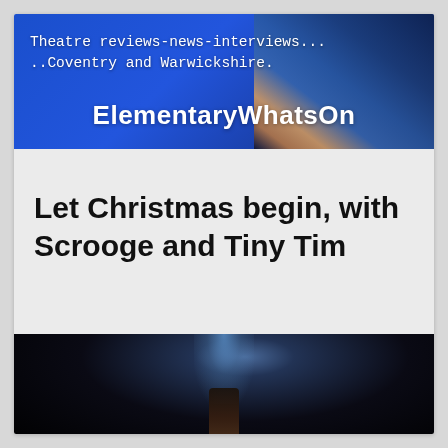Theatre reviews-news-interviews... ..Coventry and Warwickshire.
ElementaryWhatsOn
Let Christmas begin, with Scrooge and Tiny Tim
[Figure (photo): Dark theatre stage scene with spotlight and figure silhouette]